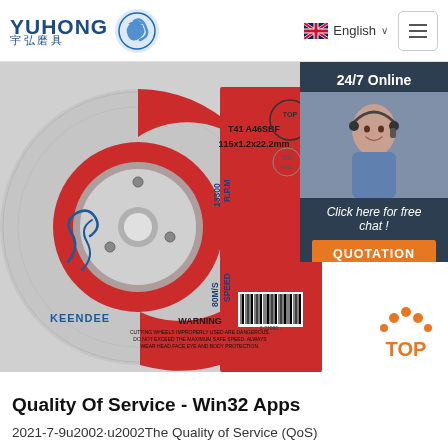YUHONG 宇弘磨具 — English
[Figure (photo): A red and grey cutting/grinding wheel (abrasive disc) branded KEENDEE, labeled T41 A46SBF, 115x1.2x22.2mm, R.P.M 13300, SPEED 80M/S, with WARNING text, barcode, and ISO 9001 badge visible.]
[Figure (photo): Customer service representative (woman with headset) in a dark blue panel with '24/7 Online', 'Click here for free chat!', and 'QUOTATION' button.]
[Figure (illustration): Orange TOP badge/icon with dot accents.]
Quality Of Service - Win32 Apps
2021-7-9u2002·u2002The Quality of Service (QoS)